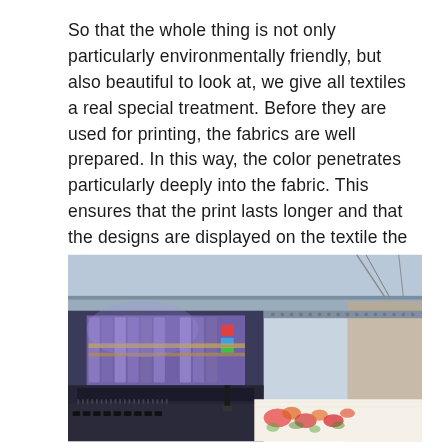So that the whole thing is not only particularly environmentally friendly, but also beautiful to look at, we give all textiles a real special treatment. Before they are used for printing, the fabrics are well prepared. In this way, the color penetrates particularly deeply into the fabric. This ensures that the print lasts longer and that the designs are displayed on the textile the way you want them to be.
[Figure (photo): Close-up photo of a large industrial textile/fabric printing machine with purple/violet ink cartridges and print heads visible, printing a colorful floral design on white fabric. The machine is shown from a low angle with metallic frame and cables visible.]